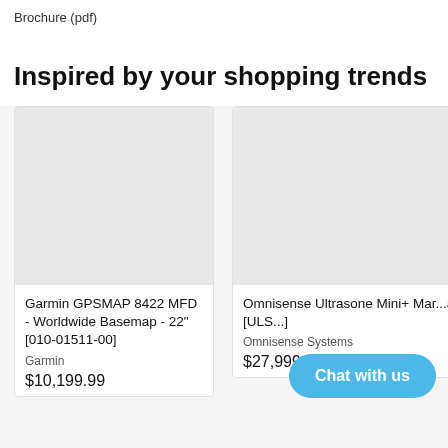Brochure (pdf)
Inspired by your shopping trends
[Figure (screenshot): Product card for Garmin GPSMAP 8422 MFD with grey image placeholder]
Garmin GPSMAP 8422 MFD - Worldwide Basemap - 22" [010-01511-00]
Garmin
$10,199.99
[Figure (screenshot): Product card for Omnisense Ultrasone Mini+ Mast partially clipped, grey image placeholder]
Omnisense Ultrasone Mini+ Ma... a [ULS...]
Omnisense Systems
$27,999.00
Chat with us